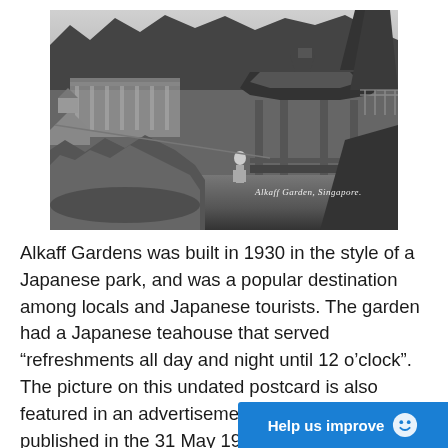[Figure (photo): Black and white historical photograph of Alkaff Garden, Singapore, showing a Japanese-style gazebo/pavilion on the right, a building in the background, rocks and water feature on the left, trees in the background, and a person standing in the middle ground. A watermark reads 'Alkaff Garden, Singapore.']
Alkaff Garden, Singapore.
Alkaff Gardens was built in 1930 in the style of a Japanese park, and was a popular destination among locals and Japanese tourists. The garden had a Japanese teahouse that served “refreshments all day and night until 12 o’clock”. The picture on this undated postcard is also featured in an advertisement for Alkaff Gardens published in the 31 May 1930 issue of the M